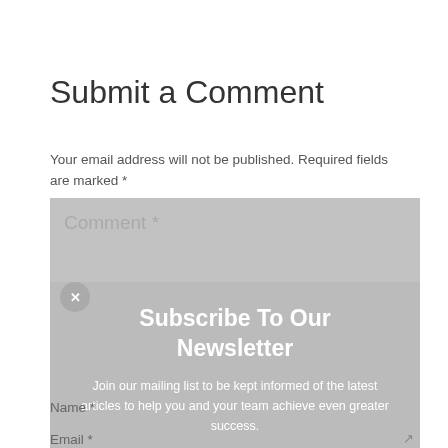Submit a Comment
Your email address will not be published. Required fields are marked *
[Figure (screenshot): Comment form textarea with placeholder text 'Comment *' on a gray background, overlaid by a newsletter subscription popup saying 'Subscribe To Our Newsletter' with body text 'Join our mailing list to be kept informed of the latest articles to help you and your team achieve even greater success.' Form fields for Name * and Email * are partially visible beneath the overlay.]